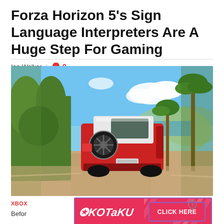Forza Horizon 5's Sign Language Interpreters Are A Huge Step For Gaming
Ian Walker  |  9 comments
[Figure (screenshot): Screenshot from Forza Horizon 5 showing a red and white Land Rover-style SUV driving on a dirt road through a tropical landscape with palm trees and blue sky]
XBOX
Befor
[Figure (infographic): Kotaku advertisement banner with pink/red background, diagonal stripe pattern, Kotaku logo on left, and 'CLICK HERE' button on right with purple border]